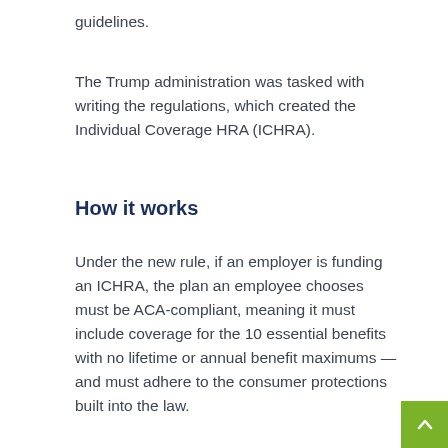guidelines.
The Trump administration was tasked with writing the regulations, which created the Individual Coverage HRA (ICHRA).
How it works
Under the new rule, if an employer is funding an ICHRA, the plan an employee chooses must be ACA-compliant, meaning it must include coverage for the 10 essential benefits with no lifetime or annual benefit maximums — and must adhere to the consumer protections built into the law.